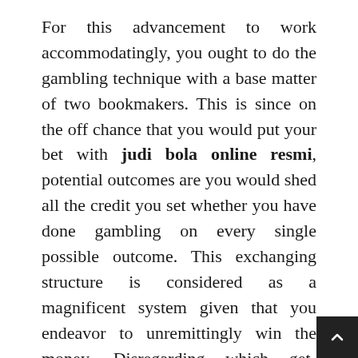For this advancement to work accommodatingly, you ought to do the gambling technique with a base matter of two bookmakers. This is since on the off chance that you would put your bet with judi bola online resmi, potential outcomes are you would shed all the credit you set whether you have done gambling on every single possible outcome. This exchanging structure is considered as a magnificent system given that you endeavor to unremittingly win the money. Disregarding which get-together triumphs the suit, you consistently get the money. Since you are gambling on the various sides, your thriving can be essential in the best way. You need to just oversee as a first worry that the additional you like the course action of online soccer gambling, the level